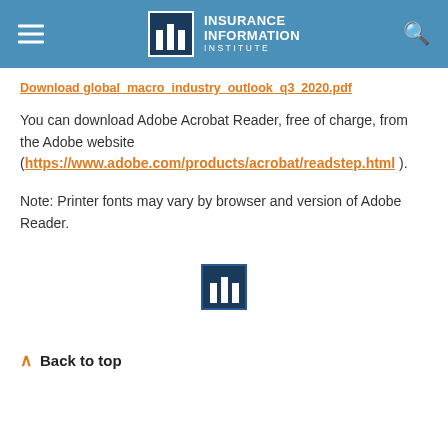Insurance Information Institute
Download global_macro_industry_outlook_q3_2020.pdf
You can download Adobe Acrobat Reader, free of charge, from the Adobe website (https://www.adobe.com/products/acrobat/readstep.html ).
Note: Printer fonts may vary by browser and version of Adobe Reader.
[Figure (logo): Insurance Information Institute logo icon (iii columns in dark blue box)]
Back to top